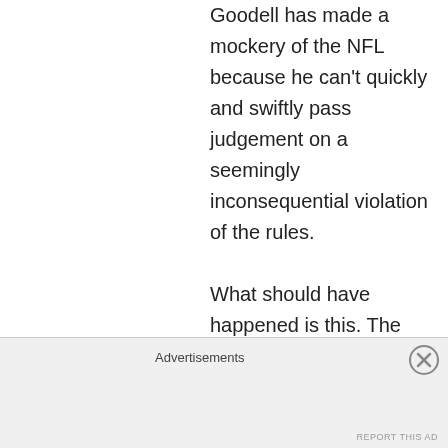Goodell has made a mockery of the NFL because he can't quickly and swiftly pass judgement on a seemingly inconsequential violation of the rules.

What should have happened is this. The story breaks Sunday night in the Indy Star because Irsay leaks the story to Kravitz. By Monday Tom Brady should have given a press conference where he said “Prior to the game I was talking to the ball boy and I said I like the ball
Advertisements